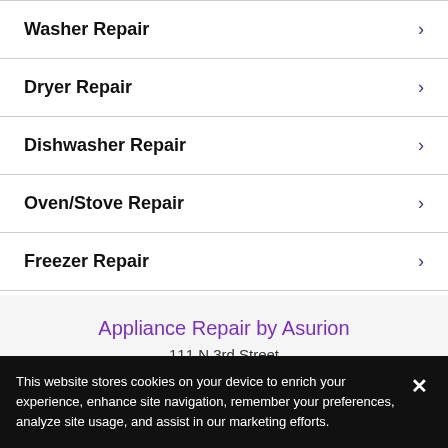Washer Repair
Dryer Repair
Dishwasher Repair
Oven/Stove Repair
Freezer Repair
Appliance Repair by Asurion
111 N 3rd Street
Smithfield, NC 27577
This website stores cookies on your device to enrich your experience, enhance site navigation, remember your preferences, analyze site usage, and assist in our marketing efforts.